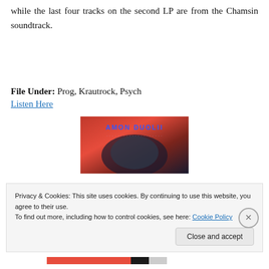while the last four tracks on the second LP are from the Chamsin soundtrack.
File Under: Prog, Krautrock, Psych
Listen Here
[Figure (photo): Album cover for Amon Duul II showing stylized text 'AMON DUOLII' in blue letters on a red/dark background with abstract imagery]
Privacy & Cookies: This site uses cookies. By continuing to use this website, you agree to their use.
To find out more, including how to control cookies, see here: Cookie Policy
Close and accept